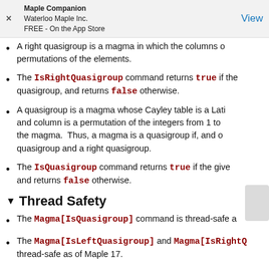Maple Companion
Waterloo Maple Inc.
FREE - On the App Store
A right quasigroup is a magma in which the columns of permutations of the elements.
The IsRightQuasigroup command returns true if the quasigroup, and returns false otherwise.
A quasigroup is a magma whose Cayley table is a Latin square, and column is a permutation of the integers from 1 to the magma. Thus, a magma is a quasigroup if, and only if it is a left quasigroup and a right quasigroup.
The IsQuasigroup command returns true if the given and returns false otherwise.
Thread Safety
The Magma[IsQuasigroup] command is thread-safe a
The Magma[IsLeftQuasigroup] and Magma[IsRightQ thread-safe as of Maple 17.